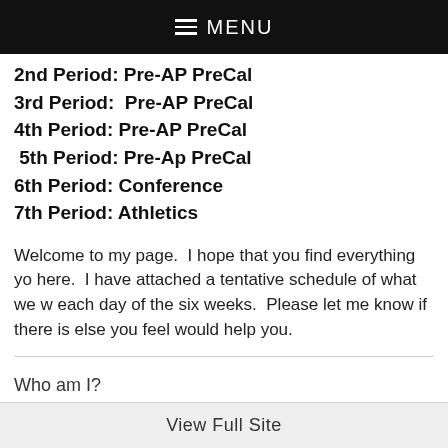MENU
2nd Period: Pre-AP PreCal
3rd Period:  Pre-AP PreCal
4th Period: Pre-AP PreCal
5th Period: Pre-Ap PreCal
6th Period: Conference
7th Period: Athletics
Welcome to my page.  I hope that you find everything you here.  I have attached a tentative schedule of what we w each day of the six weeks.  Please let me know if there is else you feel would help you.
Who am I?
View Full Site